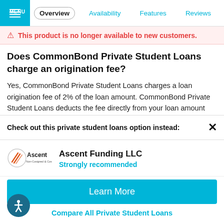MENU | Overview | Availability | Features | Reviews
This product is no longer available to new customers.
Does CommonBond Private Student Loans charge an origination fee?
Yes, CommonBond Private Student Loans charges a loan origination fee of 2% of the loan amount. CommonBond Private Student Loans deducts the fee directly from your loan amount
Check out this private student loans option instead:
Ascent Funding LLC
Strongly recommended
Learn More
Compare All Private Student Loans